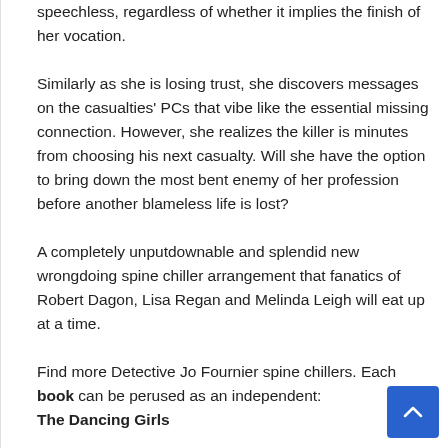speechless, regardless of whether it implies the finish of her vocation.
Similarly as she is losing trust, she discovers messages on the casualties' PCs that vibe like the essential missing connection. However, she realizes the killer is minutes from choosing his next casualty. Will she have the option to bring down the most bent enemy of her profession before another blameless life is lost?
A completely unputdownable and splendid new wrongdoing spine chiller arrangement that fanatics of Robert Dagon, Lisa Regan and Melinda Leigh will eat up at a time.
Find more Detective Jo Fournier spine chillers. Each book can be perused as an independent:
The Dancing Girls